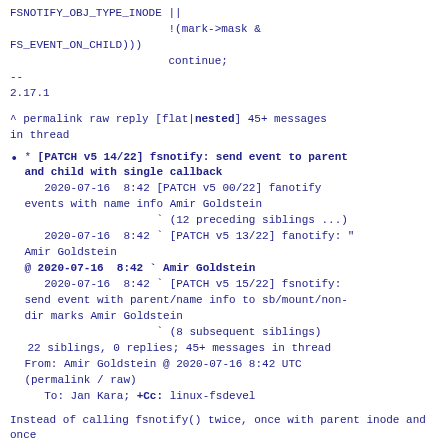FSNOTIFY_OBJ_TYPE_INODE ||
                        !(mark->mask &
FS_EVENT_ON_CHILD)))
                        continue;
--
2.17.1
^ permalink raw reply    [flat|nested] 45+ messages in thread
* [PATCH v5 14/22] fsnotify: send event to parent and child with single callback
   2020-07-16  8:42 [PATCH v5 00/22] fanotify events with name info Amir Goldstein
                    ` (12 preceding siblings ...)
   2020-07-16  8:42 ` [PATCH v5 13/22] fanotify: " Amir Goldstein
@ 2020-07-16  8:42 ` Amir Goldstein
   2020-07-16  8:42 ` [PATCH v5 15/22] fsnotify: send event with parent/name info to sb/mount/non-dir marks Amir Goldstein
                    ` (8 subsequent siblings)
   22 siblings, 0 replies; 45+ messages in thread
From: Amir Goldstein @ 2020-07-16  8:42 UTC
(permalink / raw)
   To: Jan Kara; +Cc: linux-fsdevel
Instead of calling fsnotify() twice, once with parent inode and once